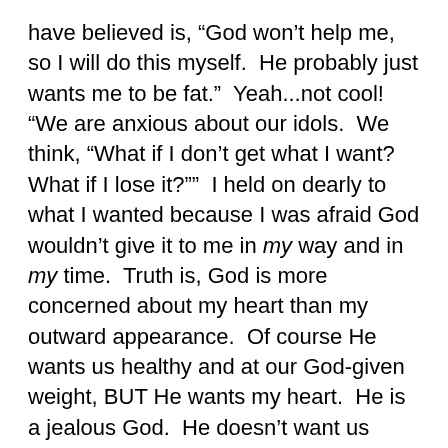have believed is, “God won’t help me, so I will do this myself.  He probably just wants me to be fat.”  Yeah...not cool!  “We are anxious about our idols.  We think, “What if I don’t get what I want?  What if I lose it?””  I held on dearly to what I wanted because I was afraid God wouldn’t give it to me in my way and in my time.  Truth is, God is more concerned about my heart than my outward appearance.  Of course He wants us healthy and at our God-given weight, BUT He wants my heart.  He is a jealous God.  He doesn’t want us bowing down to any other gods.  And I certainly made a god, an idol, out of skinny.
“Addiction and disordered eating end and